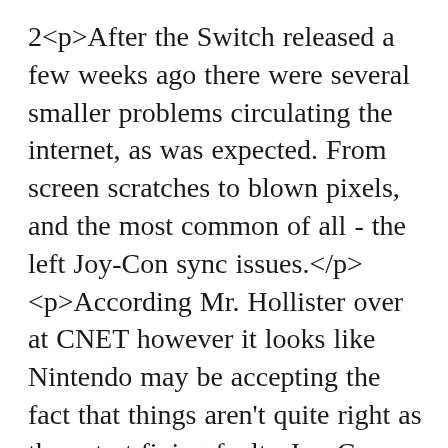2​<p>After the Switch released a few weeks ago there were several smaller problems circulating the internet, as was expected. From screen scratches to blown pixels, and the most common of all - the left Joy-Con sync issues.</p><p>According Mr. Hollister over at CNET however it looks like Nintendo may be accepting the fact that things aren't quite right as they start fixing faulty Joy-Cons with a very simple hack.</p><p>Unfortunately, as most people feared, the issue is hardware-related, so no amount of waiting for a patch to come out will ever stop Link from walking psychopathically off a cliff. Instead, it looks like contacting customer services is the way to go.</p><p>Despite Nintendo suggesting you were too close to your fishtank or that you should stop